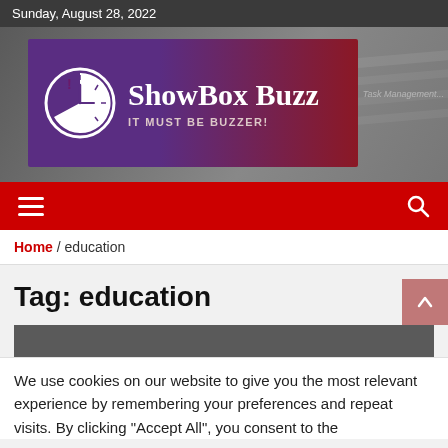Sunday, August 28, 2022
[Figure (logo): ShowBox Buzz logo with clock icon, purple-to-red gradient background. Text: 'ShowBox Buzz' and 'IT MUST BE BUZZER!']
[Figure (screenshot): Red navigation bar with hamburger menu icon on left and search icon on right]
Home / education
Tag: education
We use cookies on our website to give you the most relevant experience by remembering your preferences and repeat visits. By clicking "Accept All", you consent to the